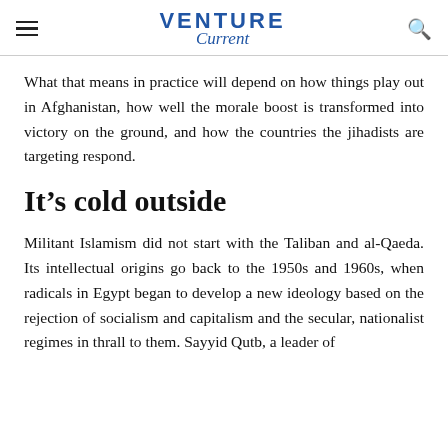VENTURE Current
What that means in practice will depend on how things play out in Afghanistan, how well the morale boost is transformed into victory on the ground, and how the countries the jihadists are targeting respond.
It’s cold outside
Militant Islamism did not start with the Taliban and al-Qaeda. Its intellectual origins go back to the 1950s and 1960s, when radicals in Egypt began to develop a new ideology based on the rejection of socialism and capitalism and the secular, nationalist regimes in thrall to them. Sayyid Qutb, a leader of